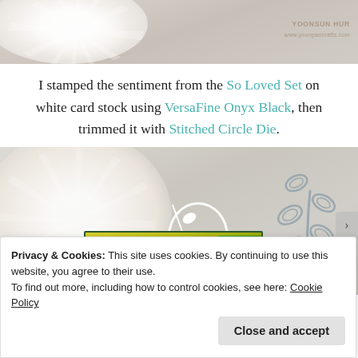[Figure (photo): Close-up of white crochet doily lace on linen fabric background, cropped top portion, with YOONSUN HUR watermark in upper right]
I stamped the sentiment from the So Loved Set on white card stock using VersaFine Onyx Black, then trimmed it with Stitched Circle Die.
[Figure (photo): Craft supplies photo: white crochet doily lace on linen background, yellow-green card with botanical leaf stamp design, green glitter square, white vine/circle die cuts, and grey metal leaf die cut pieces on right side]
Privacy & Cookies: This site uses cookies. By continuing to use this website, you agree to their use.
To find out more, including how to control cookies, see here: Cookie Policy
Close and accept